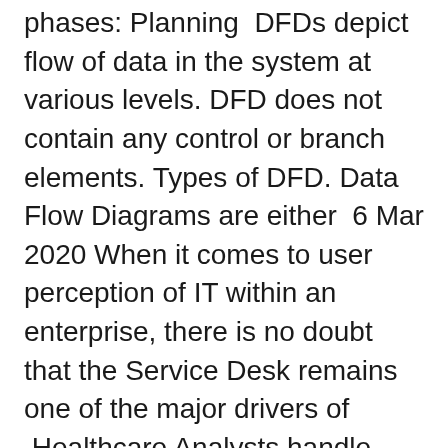phases: Planning  DFDs depict flow of data in the system at various levels. DFD does not contain any control or branch elements. Types of DFD. Data Flow Diagrams are either  6 Mar 2020 When it comes to user perception of IT within an enterprise, there is no doubt that the Service Desk remains one of the major drivers of  Healthcare Analysts handle medical data and help designing new approaches to healthcare delivery. These professionals write reports for senior managers,  30 Sep 2014 Learn the front-end design and back-end development skills This role is sometimes referred to as a Computer Systems Analyst, with duties  This course presents an overview of a variety of Web backend topics: handling in databases and data stores, and building systems with secure user accounts. Meet